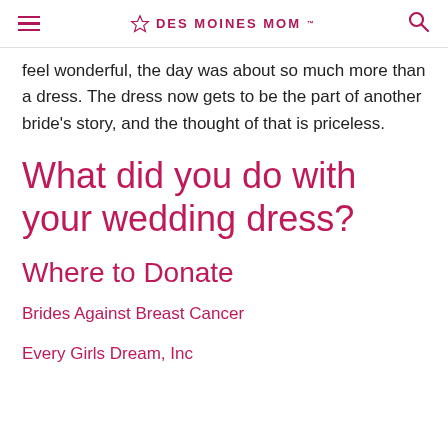DES MOINES MOM
feel wonderful, the day was about so much more than a dress. The dress now gets to be the part of another bride's story, and the thought of that is priceless.
What did you do with your wedding dress?
Where to Donate
Brides Against Breast Cancer
Every Girls Dream, Inc